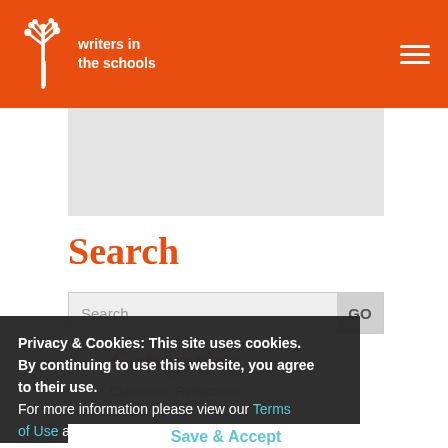writers in the schools
[Figure (screenshot): Writers in the Schools logo — white tree/plant icon with text 'writers in the schools']
Search
Search (input field) GO
Categories
Classroom Reflections
Contest
Event
Fiction
free Houston event
Privacy & Cookies: This site uses cookies. By continuing to use this website, you agree to their use. For more information please view our Terms of Use and Privacy Statement.
Save & Accept